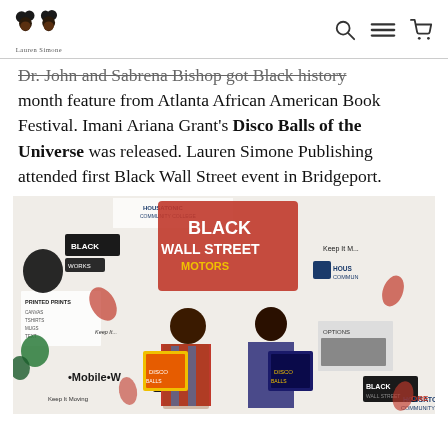Lauren Simone [logo with search, menu, cart icons]
Dr. John and Sabrena Bishop got Black history month feature from Atlanta African American Book Festival. Imani Ariana Grant's Disco Balls of the Universe was released. Lauren Simone Publishing attended first Black Wall Street event in Bridgeport.
[Figure (photo): Two young girls smiling and holding colorful books in front of a Black Wall Street event banner backdrop at Housatonic Community College]